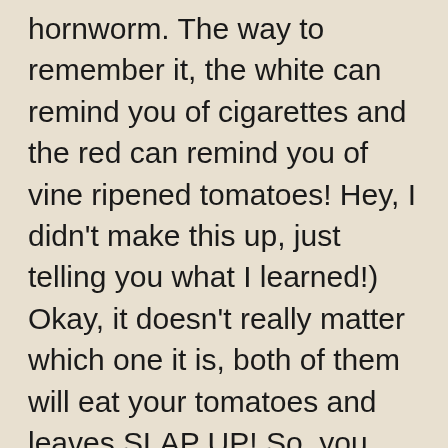hornworm. The way to remember it, the white can remind you of cigarettes and the red can remind you of vine ripened tomatoes! Hey, I didn't make this up, just telling you what I learned!)  Okay, it doesn't really matter which one it is, both of them will eat your tomatoes and leaves SLAP UP!  So, you must get rid of them! My information said to get a bucket of soapy water and drop them into it. Yep, it does the trick!  Now, it is called a hornworm  but it is actually a caterpillar for the Sphinx moth.  It is called that because when the caterpillar is at rest, apparently, it reminds one of